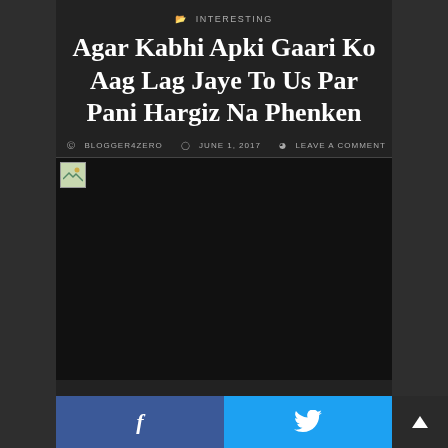INTERESTING
Agar Kabhi Apki Gaari Ko Aag Lag Jaye To Us Par Pani Hargiz Na Phenken
BLOGGER4ZERO   JUNE 1, 2017   LEAVE A COMMENT
[Figure (photo): Broken/missing image placeholder (dark background, image failed to load)]
f   [Facebook share button]   [Twitter share button]   [Scroll to top button]